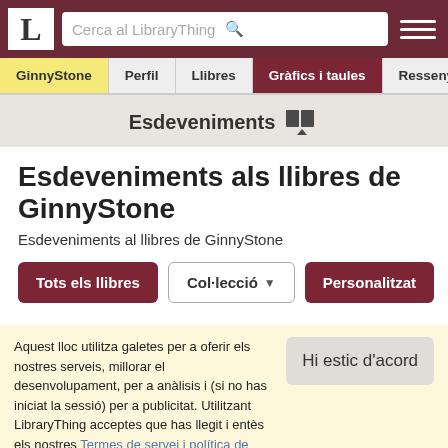L | Cerca al LibraryThing
GinnyStone | Perfil | Llibres | Gràfics i taules | Ressenyes
Esdeveniments
Esdeveniments als llibres de GinnyStone
Esdeveniments al llibres de GinnyStone
Tots els llibres | Col·lecció ▾ | Personalitzat
Aquest lloc utilitza galetes per a oferir els nostres serveis, millorar el desenvolupament, per a anàlisis i (si no has iniciat la sessió) per a publicitat. Utilitzant LibraryThing acceptes que has llegit i entès els nostres Termes de servei i política de privacitat. L'ús que facis del lloc i dels seus serveis està subjecte a aquestes polítiques i termes.